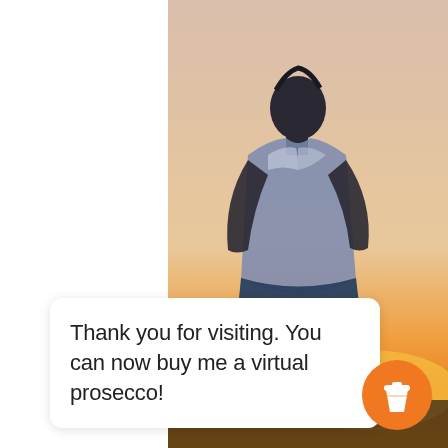[Figure (photo): A man viewed from behind, wearing a white t-shirt, sitting and looking at a sunset over the horizon. The sky transitions from pale beige at top to orange and yellow near the horizon.]
Thank you for visiting. You can now buy me a virtual prosecco!
[Figure (illustration): An orange circular button with a white coffee/takeaway cup icon in the center.]